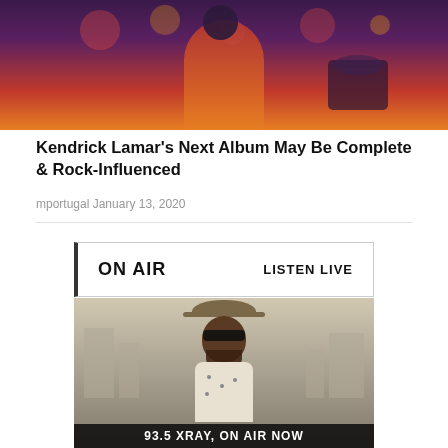[Figure (photo): Concert photo showing a performer on stage with orange/red outfit, drums in background, dark purple/red moody lighting]
Kendrick Lamar's Next Album May Be Complete & Rock-Influenced
mportugal January 13, 2020
[Figure (infographic): ON AIR widget box with border-left accent, text ON AIR on left and LISTEN LIVE on right]
[Figure (photo): DJ or radio personality wearing a wide-brim hat and sunglasses, bearded, patterned shirt, standing in front of city skyline. Bottom banner reads: 93.5 XRAY, ON AIR NOW]